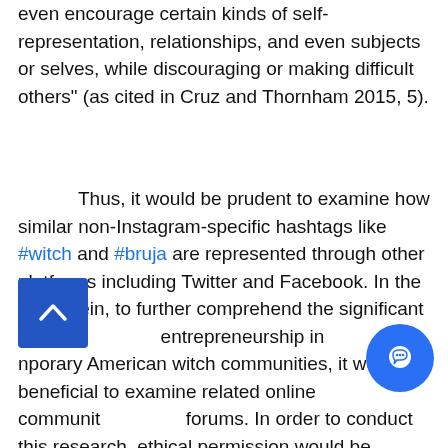even encourage certain kinds of self-representation, relationships, and even subjects or selves, while discouraging or making difficult others" (as cited in Cruz and Thornham 2015, 5).
Thus, it would be prudent to examine how similar non-Instagram-specific hashtags like #witch and #bruja are represented through other platforms including Twitter and Facebook. In the same vein, to further comprehend the significant roles of witchcraft entrepreneurship in contemporary American witch communities, it would be beneficial to examine related online community forums. In order to conduct this research, ethical permission would be